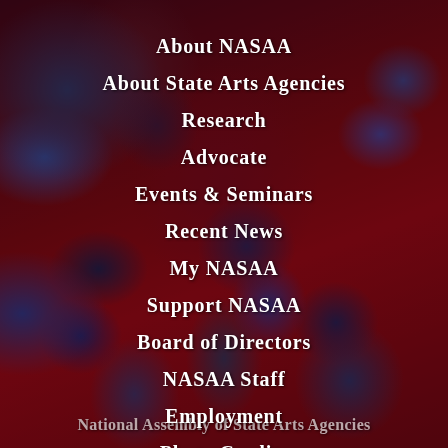About NASAA
About State Arts Agencies
Research
Advocate
Events & Seminars
Recent News
My NASAA
Support NASAA
Board of Directors
NASAA Staff
Employment
Photo Credits
National Assembly of State Arts Agencies